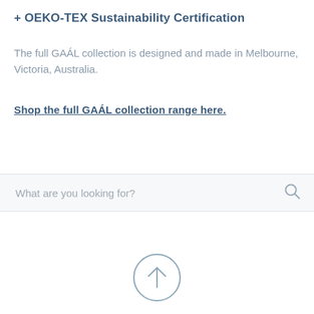+ OEKO-TEX Sustainability Certification
The full GAÁL collection is designed and made in Melbourne, Victoria, Australia.
Shop the full GAÁL collection range here.
[Figure (other): Search bar with placeholder text 'What are you looking for?' and a search icon on the right]
[Figure (other): Scroll-to-top button: a circle with an upward arrow inside]